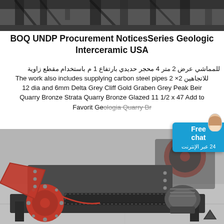[Figure (photo): Top portion of industrial steel structure or machinery, dark metal bars visible]
BOQ UNDP Procurement NoticesSeries Geologic Interceramic USA
للمماشي عرض 2 متر 4 محجر حديدي بارتفاع 1 م باستخدام مقطع زاوية The work also includes supplying carbon steel pipes للاتجاهين 2× 2 12 dia and 6mm Delta Grey Cliff Gold Graben Grey Peak Beir Quarry Bronze Strata Quarry Bronze Glazed 11 1/2 x 47 Add to Favorit Geologia Quarry Br
[Figure (photo): Industrial hammer mill / crusher machine with red wheels and gray body on a concrete floor]
[Figure (other): Free chat widget overlay with Arabic text 24 عبر الإنترنت and avatar image]